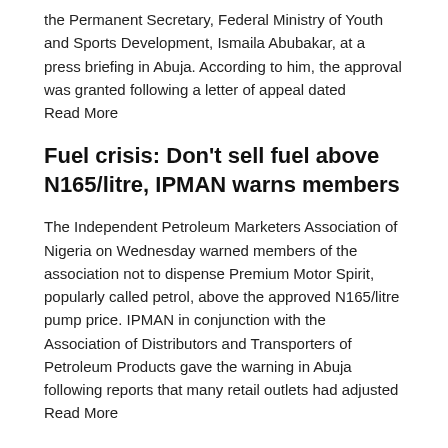the Permanent Secretary, Federal Ministry of Youth and Sports Development, Ismaila Abubakar, at a press briefing in Abuja. According to him, the approval was granted following a letter of appeal dated
Read More
Fuel crisis: Don't sell fuel above N165/litre, IPMAN warns members
The Independent Petroleum Marketers Association of Nigeria on Wednesday warned members of the association not to dispense Premium Motor Spirit, popularly called petrol, above the approved N165/litre pump price. IPMAN in conjunction with the Association of Distributors and Transporters of Petroleum Products gave the warning in Abuja following reports that many retail outlets had adjusted
Read More
Ekiti: I regret joining politics, won't contest again – ADC gov candidate